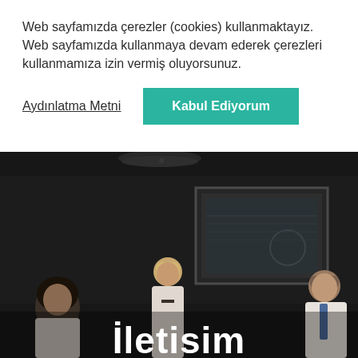Web sayfamızda çerezler (cookies) kullanmaktayız. Web sayfamızda kullanmaya devam ederek çerezleri kullanmamıza izin vermiş oluyorsunuz.
Aydınlatma Metni
Kabul Ediyorum
[Figure (photo): Dark office photo with three people in a meeting room; large framed artwork on wall in background. Text 'İletisim' overlaid in large white bold font at bottom center.]
İletisim